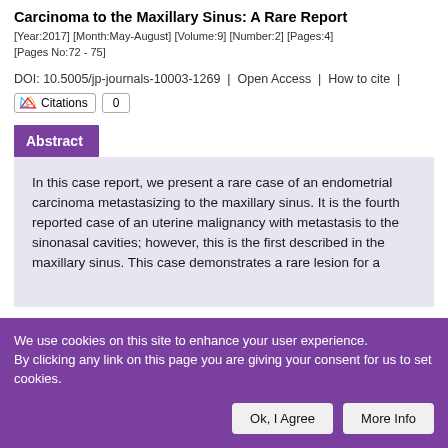Carcinoma to the Maxillary Sinus: A Rare Report
[Year:2017] [Month:May-August] [Volume:9] [Number:2] [Pages:4] [Pages No:72 - 75]
DOI: 10.5005/jp-journals-10003-1269 | Open Access | How to cite | Citations 0
Abstract
In this case report, we present a rare case of an endometrial carcinoma metastasizing to the maxillary sinus. It is the fourth reported case of an uterine malignancy with metastasis to the sinonasal cavities; however, this is the first described in the maxillary sinus. This case demonstrates a rare lesion for a
We use cookies on this site to enhance your user experience. By clicking any link on this page you are giving your consent for us to set cookies.